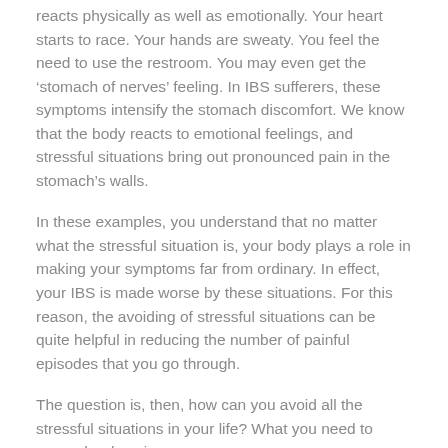reacts physically as well as emotionally. Your heart starts to race. Your hands are sweaty. You feel the need to use the restroom. You may even get the ‘stomach of nerves’ feeling. In IBS sufferers, these symptoms intensify the stomach discomfort. We know that the body reacts to emotional feelings, and stressful situations bring out pronounced pain in the stomach’s walls.
In these examples, you understand that no matter what the stressful situation is, your body plays a role in making your symptoms far from ordinary. In effect, your IBS is made worse by these situations. For this reason, the avoiding of stressful situations can be quite helpful in reducing the number of painful episodes that you go through.
The question is, then, how can you avoid all the stressful situations in your life? What you need to remember how is...